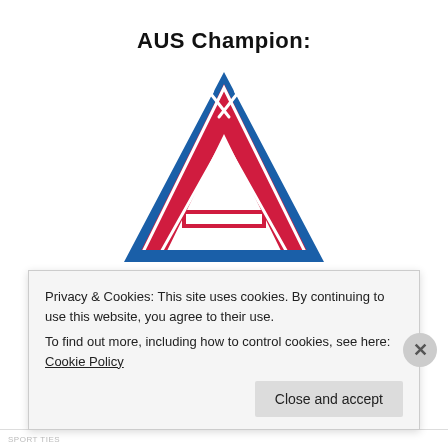AUS Champion:
[Figure (logo): Large letter A in red with blue outline, with crossed axes/hammers icon at the top center — university or sports team logo]
SPORT. ÉDUCATION. FIERTÉ.
UCEO (partial, large blue letters)
Privacy & Cookies: This site uses cookies. By continuing to use this website, you agree to their use.
To find out more, including how to control cookies, see here: Cookie Policy
Close and accept